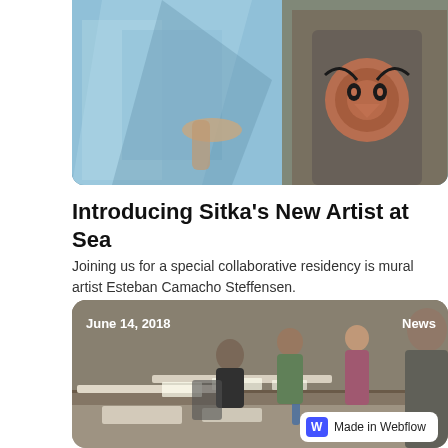[Figure (photo): Top cropped photo showing two scenes: on the left, a person painting a large blue mural; on the right, a person wearing a t-shirt with indigenous/Northwest Coast art design.]
Introducing Sitka's New Artist at Sea
Joining us for a special collaborative residency is mural artist Esteban Camacho Steffensen.
Joanne Daschel
[Figure (photo): Photo dated June 14, 2018 showing people working at tables in a workshop or studio setting, with a 'Made in Webflow' badge in the bottom right corner. The word 'News' appears in the top right.]